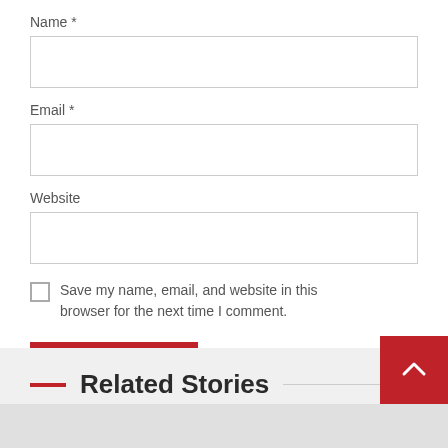Name *
Email *
Website
Save my name, email, and website in this browser for the next time I comment.
POST COMMENT
Related Stories